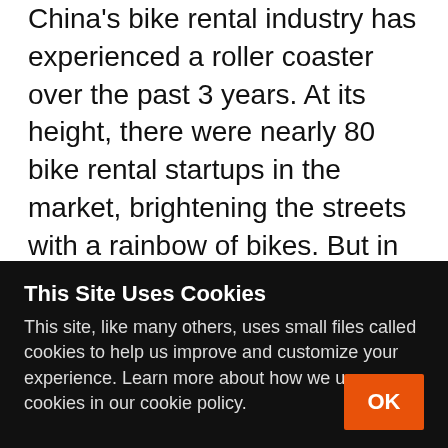China's bike rental industry has experienced a roller coaster over the past 3 years. At its height, there were nearly 80 bike rental startups in the market, brightening the streets with a rainbow of bikes. But in the fast-paced tech world, trends come and go quickly. Within a year, over 20 bike startups failed, including [...]
< 1 2 3 4 5 ... 12 >
This Site Uses Cookies
This site, like many others, uses small files called cookies to help us improve and customize your experience. Learn more about how we use cookies in our cookie policy.
OK